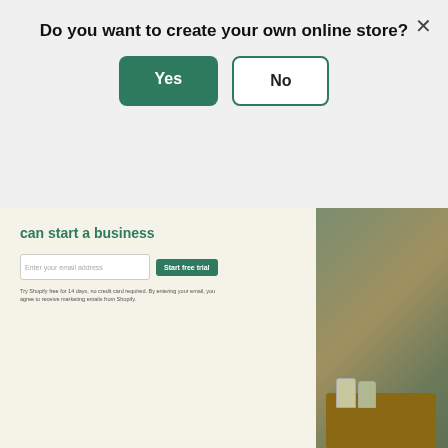Do you want to create your own online store?
Yes
No
[Figure (screenshot): Shopify website screenshot showing 'can start a business' headline with email input, Start free trial button, small print disclaimer text, and a photo of a shop table with jars and a Play video button overlay in the bottom right.]
Shopify is the easiest and most reputable way to create your own store. As an ecommerce platform, one of the top online sites to sell, Shopify makes it easy to get up and running without tech skills or a huge budget. To date, Shopify powers over one million businesses